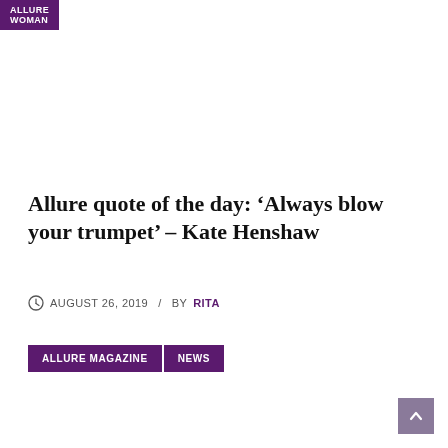ALLURE WOMAN
Allure quote of the day: ‘Always blow your trumpet’ – Kate Henshaw
AUGUST 26, 2019 / BY RITA
ALLURE MAGAZINE  NEWS